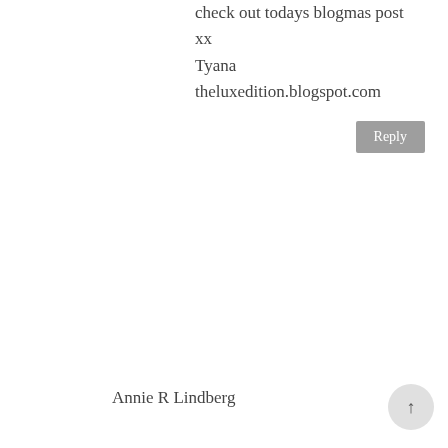check out todays blogmas post
xx
Tyana
theluxedition.blogspot.com
Reply
UNKNOWN
December 9, 2014 at 6:57 AM
Looks like you had a great time :)
Annie R Lindberg